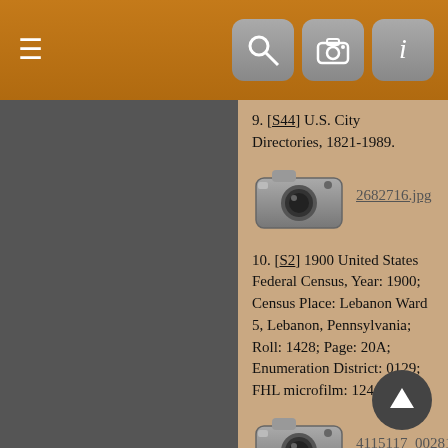Navigation header with menu and icons
9. [S44] U.S. City Directories, 1821-1989. 2682716.jpg
10. [S2] 1900 United States Federal Census, Year: 1900; Census Place: Lebanon Ward 5, Lebanon, Pennsylvania; Roll: 1428; Page: 20A; Enumeration District: 0129; FHL microfilm: 1241428. 4115117_00281.jpg
11. [S13] 1860 United States Federal Census, Year: 1860; Census Place: Township 8 N 6 W, Henderson, Illinois; Roll: M653_181; Page: 530; Family History Library Film: 803181. 4213642_00530.jpg